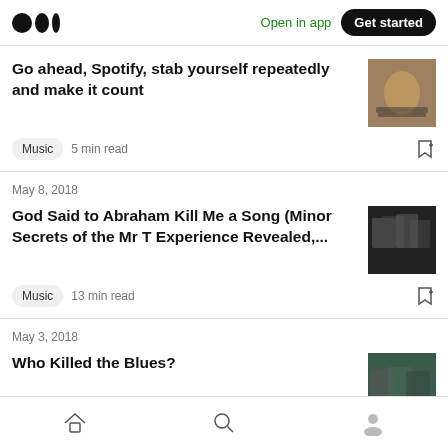Medium logo | Open in app | Get started
Go ahead, Spotify, stab yourself repeatedly and make it count
Music  5 min read
May 8, 2018
God Said to Abraham Kill Me a Song (Minor Secrets of the Mr T Experience Revealed,...
Music  13 min read
May 3, 2018
Who Killed the Blues?
Home | Search | Profile